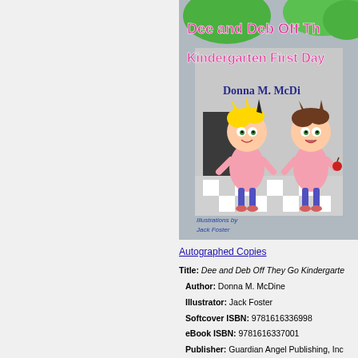[Figure (illustration): Book cover for 'Dee and Deb Off They Go Kindergarten First Day' by Donna M. McDine, illustrated by Jack Foster. Shows two cartoon girl characters with big eyes standing in front of a school, one blonde and one with brown hair, both wearing pink. Colorful text at top in pink and magenta. Green trees visible.]
Autographed Copies
Title: Dee and Deb Off They Go Kindergarte...
Author: Donna M. McDine
Illustrator: Jack Foster
Softcover ISBN: 9781616336998
eBook ISBN: 9781616337001
Publisher: Guardian Angel Publishing, Inc...